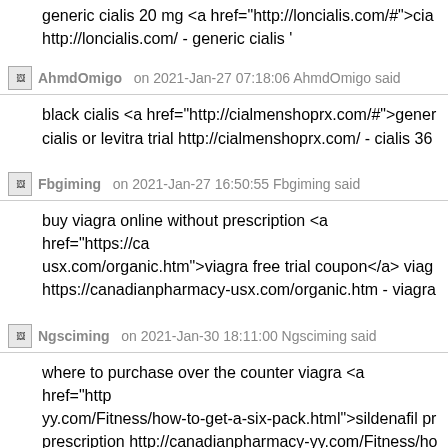generic cialis 20 mg <a href="http://loncialis.com/#">cia... http://loncialis.com/ - generic cialis '
AhmdOmigo on 2021-Jan-27 07:18:06 AhmdOmigo said
black cialis <a href="http://cialmenshoprx.com/#">gener... cialis or levitra trial http://cialmenshoprx.com/ - cialis 36
Fbgiming on 2021-Jan-27 16:50:55 Fbgiming said
buy viagra online without prescription <a href="https://ca... usx.com/organic.htm">viagra free trial coupon</a> viag... https://canadianpharmacy-usx.com/organic.htm - viagra
Ngsciming on 2021-Jan-30 18:11:00 Ngsciming said
where to purchase over the counter viagra <a href="http... yy.com/Fitness/how-to-get-a-six-pack.html">sildenafil pr... prescription http://canadianpharmacy-yy.com/Fitness/ho... buy coupon '